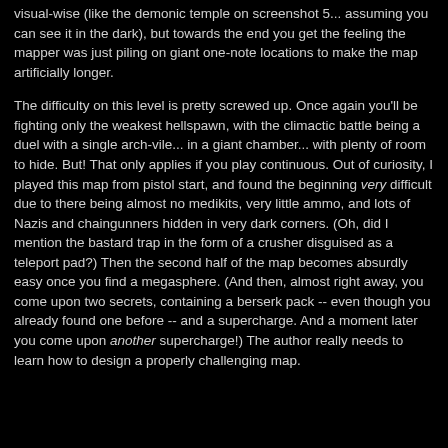visual-wise (like the demonic temple on screenshot 5... assuming you can see it in the dark), but towards the end you get the feeling the mapper was just piling on giant one-note locations to make the map artificially longer.
The difficulty on this level is pretty screwed up. Once again you'll be fighting only the weakest hellspawn, with the climactic battle being a duel with a single arch-vile... in a giant chamber... with plenty of room to hide. But! That only applies if you play continuous. Out of curiosity, I played this map from pistol start, and found the beginning very difficult due to there being almost no medikits, very little ammo, and lots of Nazis and chaingunners hidden in very dark corners. (Oh, did I mention the bastard trap in the form of a crusher disguised as a teleport pad?) Then the second half of the map becomes absurdly easy once you find a megasphere. (And then, almost right away, you come upon two secrets, containing a berserk pack -- even though you already found one before -- and a supercharge. And a moment later you come upon another supercharge!) The author really needs to learn how to design a properly challenging map.